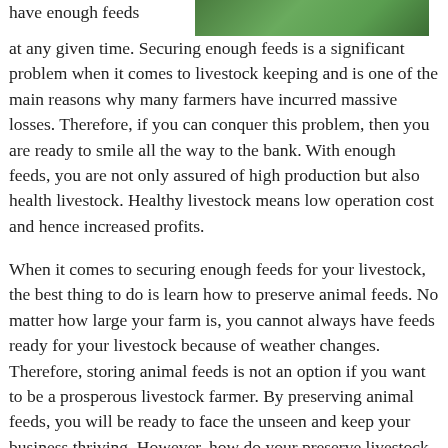have enough feeds at any given time. Securing enough feeds is a significant problem when it comes to livestock keeping and is one of the main reasons why many farmers have incurred massive losses. Therefore, if you can conquer this problem, then you are ready to smile all the way to the bank. With enough feeds, you are not only assured of high production but also health livestock. Healthy livestock means low operation cost and hence increased profits.
[Figure (photo): Green grass or field, partial view at top right of page]
When it comes to securing enough feeds for your livestock, the best thing to do is learn how to preserve animal feeds. No matter how large your farm is, you cannot always have feeds ready for your livestock because of weather changes. Therefore, storing animal feeds is not an option if you want to be a prosperous livestock farmer. By preserving animal feeds, you will be ready to face the unseen and keep your business thriving. However, how do your preserve livestock feeds? Well, it depends on what you want to preserve as